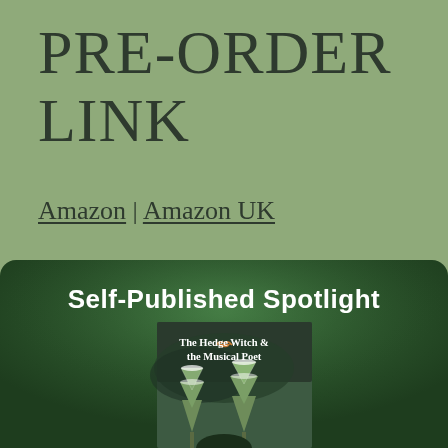PRE-ORDER LINK
Amazon | Amazon UK
[Figure (illustration): Self-Published Spotlight banner showing a book cover for 'The Hedge Witch & the Musical Poet' with dark green misty forest background featuring evergreen trees and a bird in flight]